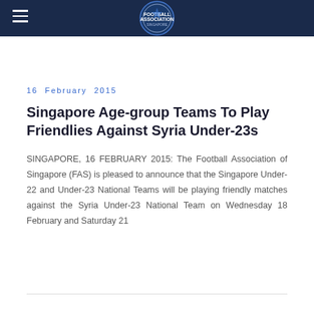Football Association of Singapore website header with logo
16 February 2015
Singapore Age-group Teams To Play Friendlies Against Syria Under-23s
SINGAPORE, 16 FEBRUARY 2015: The Football Association of Singapore (FAS) is pleased to announce that the Singapore Under-22 and Under-23 National Teams will be playing friendly matches against the Syria Under-23 National Team on Wednesday 18 February and Saturday 21